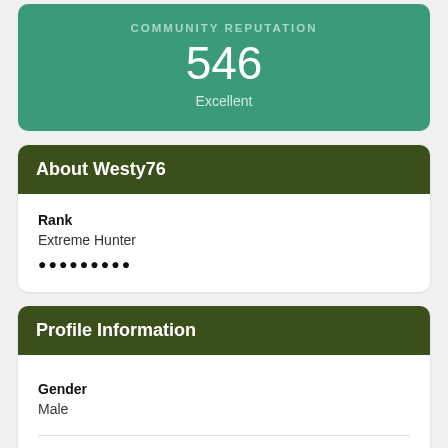COMMUNITY REPUTATION
546
Excellent
About Westy76
Rank
Extreme Hunter
Profile Information
Gender
Male
Location
West Sussex